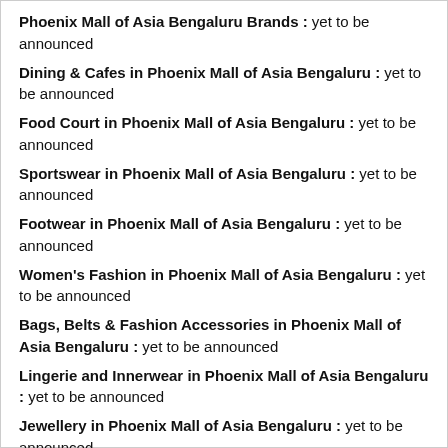Phoenix Mall of Asia Bengaluru Brands : yet to be announced
Dining & Cafes in Phoenix Mall of Asia Bengaluru : yet to be announced
Food Court in Phoenix Mall of Asia Bengaluru : yet to be announced
Sportswear in Phoenix Mall of Asia Bengaluru : yet to be announced
Footwear in Phoenix Mall of Asia Bengaluru : yet to be announced
Women's Fashion in Phoenix Mall of Asia Bengaluru : yet to be announced
Bags, Belts & Fashion Accessories in Phoenix Mall of Asia Bengaluru : yet to be announced
Lingerie and Innerwear in Phoenix Mall of Asia Bengaluru : yet to be announced
Jewellery in Phoenix Mall of Asia Bengaluru : yet to be announced